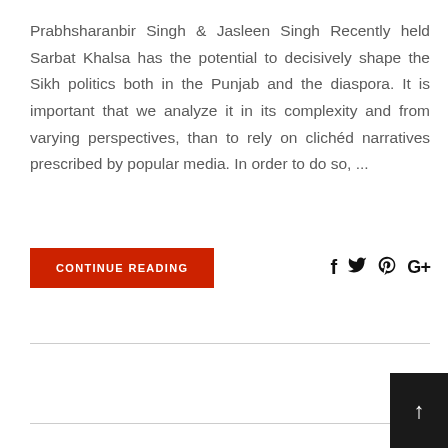Prabhsharanbir Singh & Jasleen Singh Recently held Sarbat Khalsa has the potential to decisively shape the Sikh politics both in the Punjab and the diaspora. It is important that we analyze it in its complexity and from varying perspectives, than to rely on clichéd narratives prescribed by popular media. In order to do so, ...
CONTINUE READING
[Figure (other): Social media share icons: Facebook (f), Twitter (bird), Pinterest (P), Google+ (G+)]
[Figure (other): Dark scroll-to-top button with upward arrow]